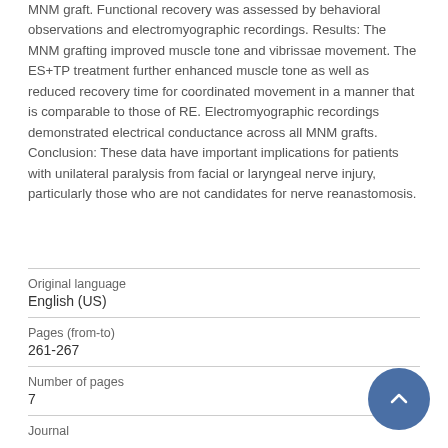MNM graft. Functional recovery was assessed by behavioral observations and electromyographic recordings. Results: The MNM grafting improved muscle tone and vibrissae movement. The ES+TP treatment further enhanced muscle tone as well as reduced recovery time for coordinated movement in a manner that is comparable to those of RE. Electromyographic recordings demonstrated electrical conductance across all MNM grafts. Conclusion: These data have important implications for patients with unilateral paralysis from facial or laryngeal nerve injury, particularly those who are not candidates for nerve reanastomosis.
| Field | Value |
| --- | --- |
| Original language | English (US) |
| Pages (from-to) | 261-267 |
| Number of pages | 7 |
| Journal |  |